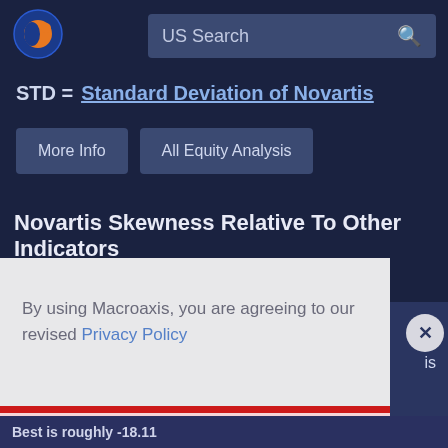[Figure (logo): Macroaxis globe logo with orange and blue colors]
US Search
STD = Standard Deviation of Novartis
More Info
All Equity Analysis
Novartis Skewness Relative To Other Indicators
By using Macroaxis, you are agreeing to our revised Privacy Policy
OK
Best is roughly -18.11